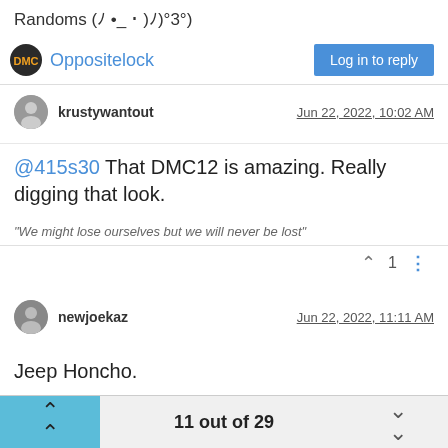Randoms (ﾉ •_•)ﾉ)°3°)
Oppositelock
krustywantout   Jun 22, 2022, 10:02 AM
@415s30 That DMC12 is amazing. Really digging that look.
"We might lose ourselves but we will never be lost"
1
newjoekaz   Jun 22, 2022, 11:11 AM
Jeep Honcho.
11 out of 29